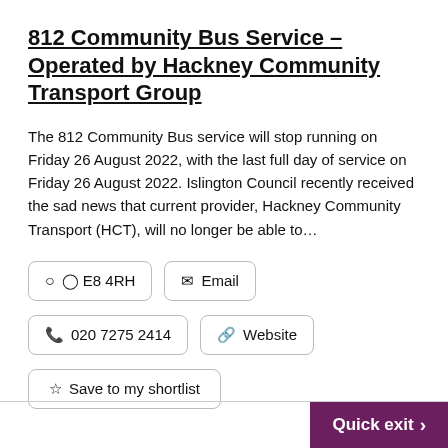812 Community Bus Service - Operated by Hackney Community Transport Group
The 812 Community Bus service will stop running on Friday 26 August 2022, with the last full day of service on Friday 26 August 2022. Islington Council recently received the sad news that current provider, Hackney Community Transport (HCT), will no longer be able to…
E8 4RH
Email
020 7275 2414
Website
Save to my shortlist